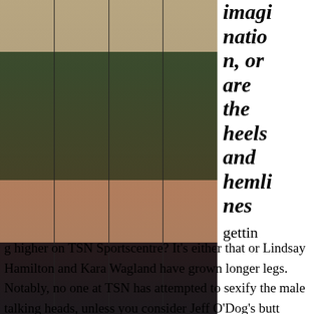[Figure (photo): Four side-by-side photos of Kara Wagland, a TSN Sportscentre anchor, wearing a dark olive green dress with white top, showing full body from head to heels on a TV studio set.]
Kara Wagland
imagination, or are the heels and hemlines getting higher on TSN Sportscentre? It’s either that or Lindsay Hamilton and Kara Wagland have grown longer legs. Notably, no one at TSN has attempted to sexify the male talking heads, unless you consider Jeff O’Dog’s butt cleavage sexy. It’s a blatant sexist double standard that the women must look and dress the way they look and dress